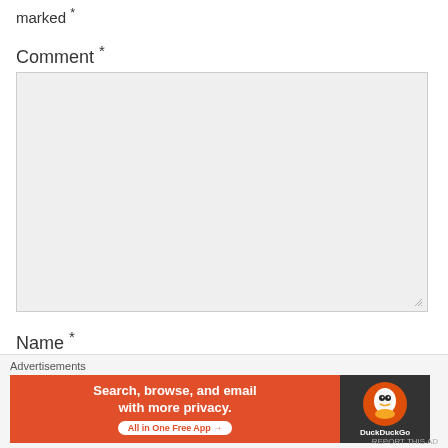marked *
Comment *
[Figure (screenshot): Empty comment textarea input field with light gray background and resize handle]
Name *
[Figure (screenshot): Empty name text input field with light gray background]
Email *
[Figure (screenshot): Advertisements banner: DuckDuckGo ad - Search, browse, and email with more privacy. All in One Free App]
Advertisements